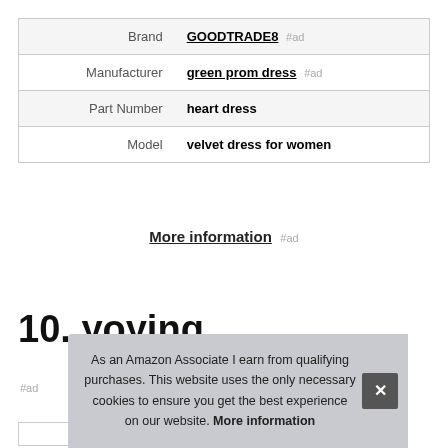| Brand | GOODTRADE8 #ad |
| Manufacturer | green prom dress #ad |
| Part Number | heart dress |
| Model | velvet dress for women |
More information #ad
10. yoying
#ad
As an Amazon Associate I earn from qualifying purchases. This website uses the only necessary cookies to ensure you get the best experience on our website. More information